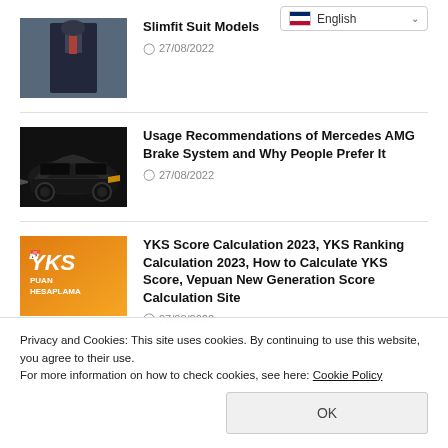[Figure (photo): Thumbnail of a man in a slimfit suit]
Slimfit Suit Models
27/08/2022
[Figure (photo): Thumbnail of a black Mercedes AMG car]
Usage Recommendations of Mercedes AMG Brake System and Why People Prefer It
27/08/2022
[Figure (photo): Orange YKS Puan Hesaplama thumbnail]
YKS Score Calculation 2023, YKS Ranking Calculation 2023, How to Calculate YKS Score, Vepuan New Generation Score Calculation Site
27/08/2022
[Figure (screenshot): Language selector dropdown showing English with flag]
Privacy and Cookies: This site uses cookies. By continuing to use this website, you agree to their use.
For more information on how to check cookies, see here: Cookie Policy
OK